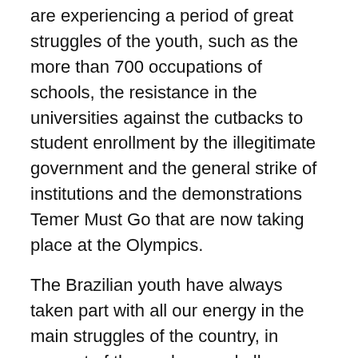are experiencing a period of great struggles of the youth, such as the more than 700 occupations of schools, the resistance in the universities against the cutbacks to student enrollment by the illegitimate government and the general strike of institutions and the demonstrations Temer Must Go that are now taking place at the Olympics.
The Brazilian youth have always taken part with all our energy in the main struggles of the country, in support of the workers and all our people. Today we continue to play the combative role on the road to major changes for solidarity, peace and freedom in the world; we are on the march towards socialism.
Colombia
The young people taking part in the 25th Anti-Imperialist and Anti-Fascist International Youth Camp, IAFAIYC-2016